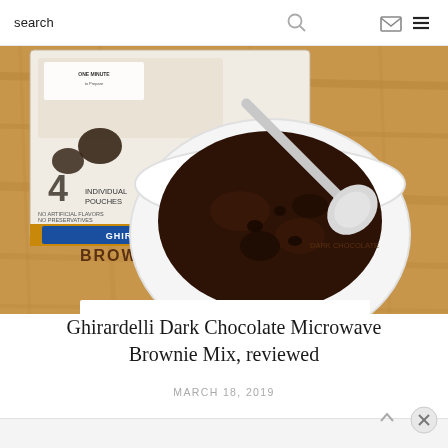search
[Figure (photo): Overhead view of a white mug containing a chocolate brownie with a spoon, next to a Ghirardelli Dark Chocolate Brownies box on a wooden surface]
Ghirardelli Dark Chocolate Microwave Brownie Mix, reviewed
MARCH 18, 2019